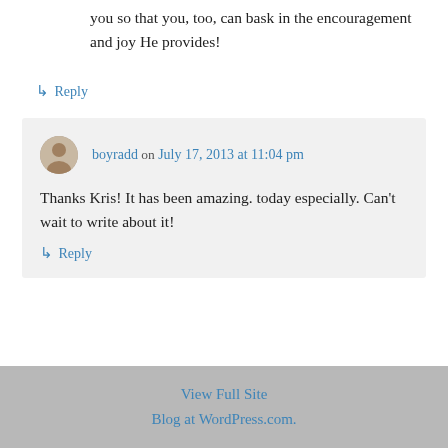you so that you, too, can bask in the encouragement and joy He provides!
↳ Reply
boyradd on July 17, 2013 at 11:04 pm
Thanks Kris! It has been amazing. today especially. Can't wait to write about it!
↳ Reply
View Full Site
Blog at WordPress.com.